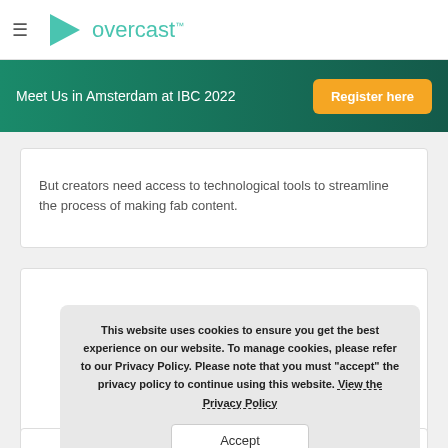≡ overcast™
Meet Us in Amsterdam at IBC 2022
Register here
But creators need access to technological tools to streamline the process of making fab content.
This website uses cookies to ensure you get the best experience on our website. To manage cookies, please refer to our Privacy Policy. Please note that you must "accept" the privacy policy to continue using this website. View the Privacy Policy
Accept